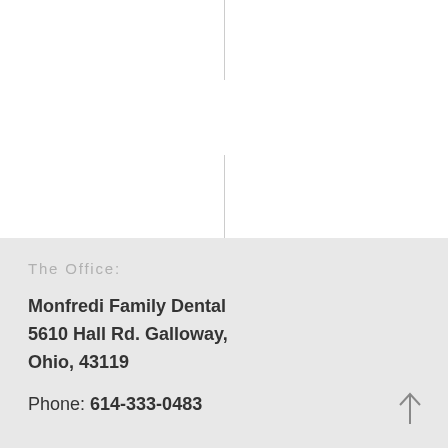The Office:
Monfredi Family Dental
5610 Hall Rd. Galloway,
Ohio, 43119
Phone: 614-333-0483